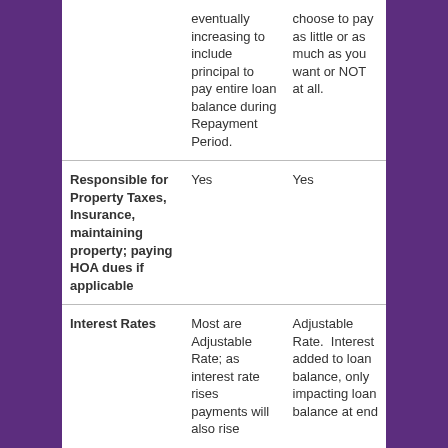|  | HELOC | Reverse Mortgage |
| --- | --- | --- |
|  | eventually increasing to include principal to pay entire loan balance during Repayment Period. | choose to pay as little or as much as you want or NOT at all. |
| Responsible for Property Taxes, Insurance, maintaining property; paying HOA dues if applicable | Yes | Yes |
| Interest Rates | Most are Adjustable Rate; as interest rate rises payments will also rise | Adjustable Rate.  Interest added to loan balance, only impacting loan balance at end |